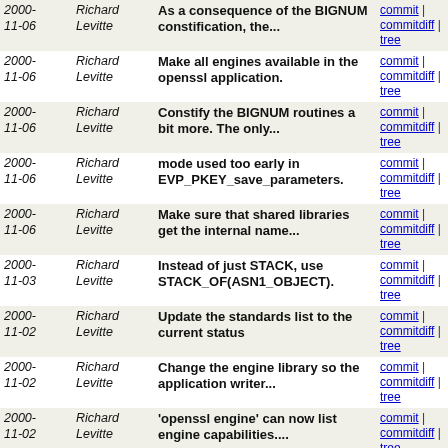| Date | Author | Message | Links |
| --- | --- | --- | --- |
| 2000-11-06 | Richard Levitte | As a consequence of the BIGNUM constification, the... | commit | commitdiff | tree |
| 2000-11-06 | Richard Levitte | Make all engines available in the openssl application. | commit | commitdiff | tree |
| 2000-11-06 | Richard Levitte | Constify the BIGNUM routines a bit more. The only... | commit | commitdiff | tree |
| 2000-11-06 | Richard Levitte | mode used too early in EVP_PKEY_save_parameters. | commit | commitdiff | tree |
| 2000-11-06 | Richard Levitte | Make sure that shared libraries get the internal name... | commit | commitdiff | tree |
| 2000-11-03 | Richard Levitte | Instead of just STACK, use STACK_OF(ASN1_OBJECT). | commit | commitdiff | tree |
| 2000-11-02 | Richard Levitte | Update the standards list to the current status | commit | commitdiff | tree |
| 2000-11-02 | Richard Levitte | Change the engine library so the application writer... | commit | commitdiff | tree |
| 2000-11-02 | Richard Levitte | 'openssl engine' can now list engine capabilities.... | commit | commitdiff | tree |
| 2000-11-02 | Richard Levitte | Better error reporting in 'openssl engine' | commit | commitdiff | tree |
| 2000-11-02 | Richard Levitte | make update | commit | commitdiff | tree |
| 2000-11-01 | Richard Levitte | -t is supported, so display some help about it. | commit | commitdiff | tree |
| 2000-11-01 | Richard Levitte | Add application to enumerate, list and test engines... | commit | commitdiff | tree |
| 2000- | Richard | Add support for shared libraries | commit | commitdiff |